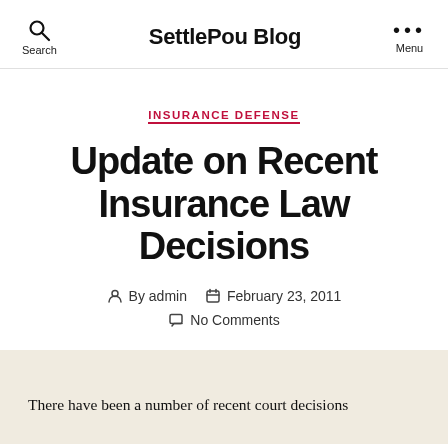SettlePou Blog
INSURANCE DEFENSE
Update on Recent Insurance Law Decisions
By admin  February 23, 2011  No Comments
There have been a number of recent court decisions